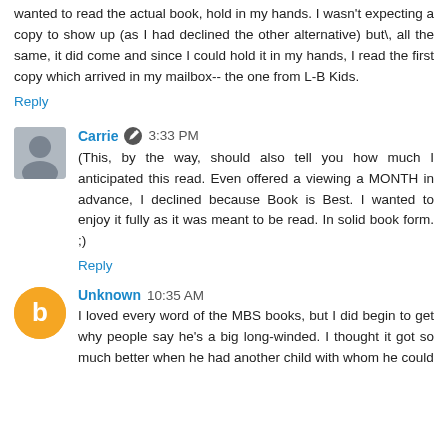wanted to read the actual book, hold in my hands. I wasn't expecting a copy to show up (as I had declined the other alternative) but\, all the same, it did come and since I could hold it in my hands, I read the first copy which arrived in my mailbox-- the one from L-B Kids.
Reply
Carrie  3:33 PM
(This, by the way, should also tell you how much I anticipated this read. Even offered a viewing a MONTH in advance, I declined because Book is Best. I wanted to enjoy it fully as it was meant to be read. In solid book form. ;)
Reply
Unknown  10:35 AM
I loved every word of the MBS books, but I did begin to get why people say he's a big long-winded. I thought it got so much better when he had another child with whom he could